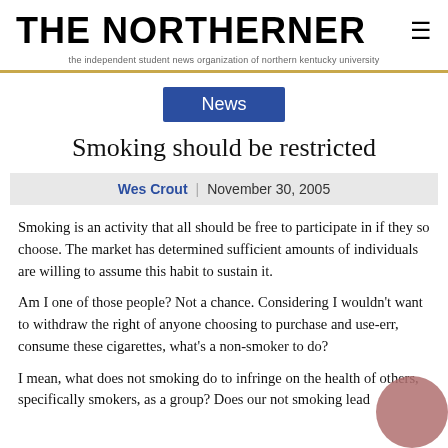THE NORTHERNER — the independent student news organization of northern kentucky university
News
Smoking should be restricted
Wes Crout | November 30, 2005
Smoking is an activity that all should be free to participate in if they so choose. The market has determined sufficient amounts of individuals are willing to assume this habit to sustain it.
Am I one of those people? Not a chance. Considering I wouldn't want to withdraw the right of anyone choosing to purchase and use-err, consume these cigarettes, what's a non-smoker to do?
I mean, what does not smoking do to infringe on the health of others, specifically smokers, as a group? Does our not smoking lead